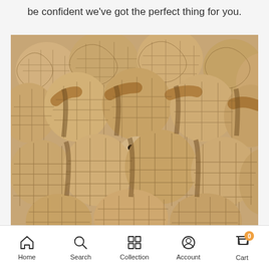be confident we've got the perfect thing for you.
[Figure (photo): A pile of small animals (hamsters or similar rodents) tangled in beige mesh/net tubes, with cute faces peeking out between the mesh segments]
Home  Search  Collection  Account  Cart